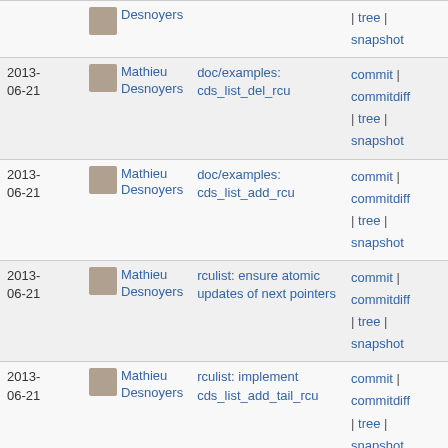| Date | Author | Commit message | Actions |
| --- | --- | --- | --- |
|  | Mathieu Desnoyers |  | tree | snapshot |
| 2013-06-21 | Mathieu Desnoyers | doc/examples: cds_list_del_rcu | commit | commitdiff | tree | snapshot |
| 2013-06-21 | Mathieu Desnoyers | doc/examples: cds_list_add_rcu | commit | commitdiff | tree | snapshot |
| 2013-06-21 | Mathieu Desnoyers | rculist: ensure atomic updates of next pointers | commit | commitdiff | tree | snapshot |
| 2013-06-21 | Mathieu Desnoyers | rculist: implement cds_list_add_tail_rcu | commit | commitdiff | tree | snapshot |
| 2013-06-21 | Mathieu Desnoyers | rculist.h and list.h style cleanup | commit | commitdiff | tree | |